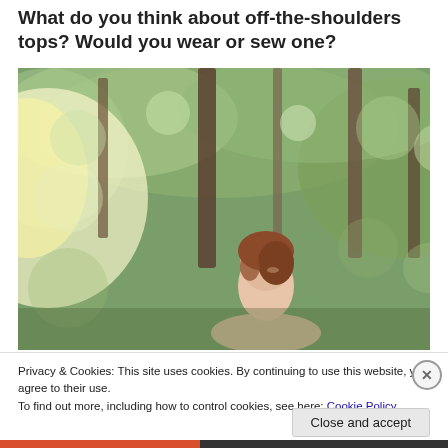What do you think about off-the-shoulders tops? Would you wear or sew one?
[Figure (photo): A woman with short auburn/reddish hair standing outdoors in a forest setting with bokeh tree background and sunlight filtering through leaves. She appears to be wearing an off-the-shoulder top. The image has a warm, dreamy quality.]
Privacy & Cookies: This site uses cookies. By continuing to use this website, you agree to their use.
To find out more, including how to control cookies, see here: Cookie Policy